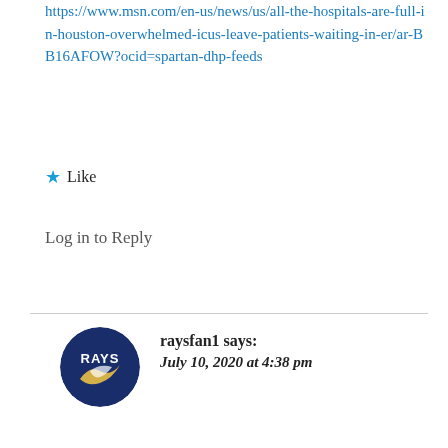https://www.msn.com/en-us/news/us/all-the-hospitals-are-full-in-houston-overwhelmed-icus-leave-patients-waiting-in-er/ar-BB16AFOW?ocid=spartan-dhp-feeds
★ Like
Log in to Reply
[Figure (illustration): Circular avatar with Tampa Bay Rays baseball team logo — dark navy blue circle with 'RAYS' text and a bird/ray graphic in white and gold]
raysfan1 says:
July 10, 2020 at 4:38 pm
ICUs are all full in Miami/Dade and Broward counties in FL, too.
Our numbers are surging while other Canada's are declining. We have a critical mass here of Covidiots thinking not social distancing and not